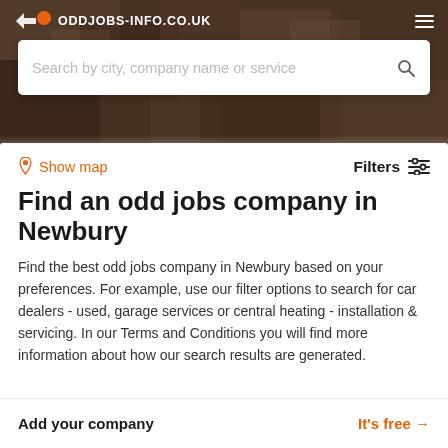ODDJOBS-INFO.CO.UK
[Figure (screenshot): Website screenshot showing oddjobs-info.co.uk search page for finding odd jobs companies in Newbury, with a hero background image, search bar, map/filter controls, title, description, and add company footer bar.]
Search by city, company name or service
Show map
Filters
Find an odd jobs company in Newbury
Find the best odd jobs company in Newbury based on your preferences. For example, use our filter options to search for car dealers - used, garage services or central heating - installation & servicing. In our Terms and Conditions you will find more information about how our search results are generated.
Add your company
It's free →